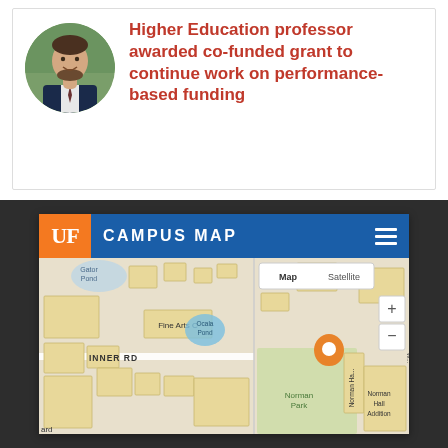[Figure (photo): Headshot photo of a professor, circular crop, man with beard wearing suit jacket]
Higher Education professor awarded co-funded grant to continue work on performance-based funding
[Figure (screenshot): UF Campus Map screenshot showing Norman Hall area with orange location pin marker, Fine Arts C building, Ocala Pond, Inner Rd, Norman Park, Norman Hall Addition labels. Map/Satellite toggle and zoom +/- controls visible.]